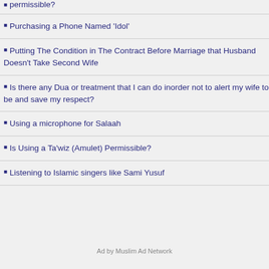permissible?
Purchasing a Phone Named 'Idol'
Putting The Condition in The Contract Before Marriage that Husband Doesn't Take Second Wife
Is there any Dua or treatment that I can do inorder not to alert my wife to be and save my respect?
Using a microphone for Salaah
Is Using a Ta'wiz (Amulet) Permissible?
Listening to Islamic singers like Sami Yusuf
Ad by Muslim Ad Network